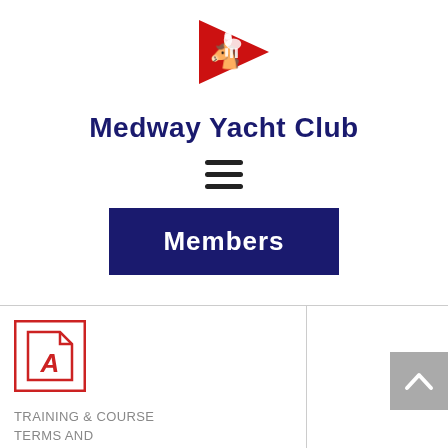[Figure (logo): Medway Yacht Club red pennant flag logo with white horse rampant]
Medway Yacht Club
[Figure (other): Hamburger menu icon (three horizontal lines)]
Members
[Figure (other): PDF file icon (red Adobe Acrobat style icon with red border)]
TRAINING & COURSE TERMS AND CONDITIONS.PDF